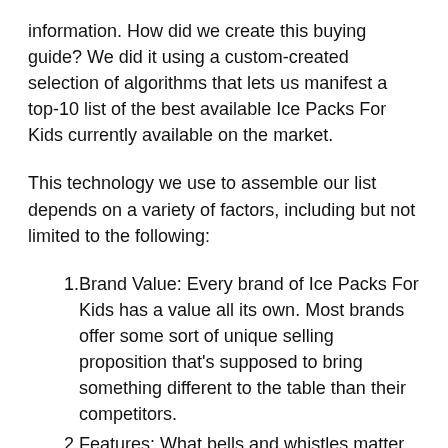information. How did we create this buying guide? We did it using a custom-created selection of algorithms that lets us manifest a top-10 list of the best available Ice Packs For Kids currently available on the market.
This technology we use to assemble our list depends on a variety of factors, including but not limited to the following:
Brand Value: Every brand of Ice Packs For Kids has a value all its own. Most brands offer some sort of unique selling proposition that’s supposed to bring something different to the table than their competitors.
Features: What bells and whistles matter for an Ice Packs For Kids?
Specifications: How powerful they are can be measured.
Product Value: his simply is how much bang for the